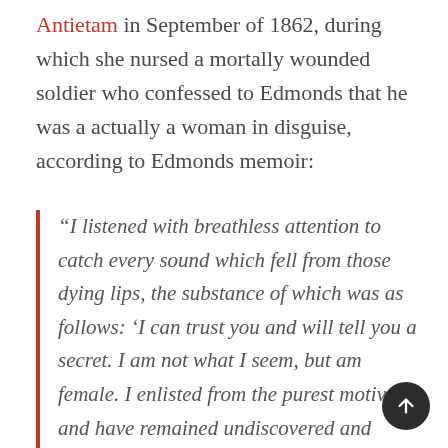Antietam in September of 1862, during which she nursed a mortally wounded soldier who confessed to Edmonds that he was a actually a woman in disguise, according to Edmonds memoir:
“I listened with breathless attention to catch every sound which fell from those dying lips, the substance of which was as follows: ‘I can trust you and will tell you a secret. I am not what I seem, but am female. I enlisted from the purest motives, and have remained undiscovered and unsuspected…I wish